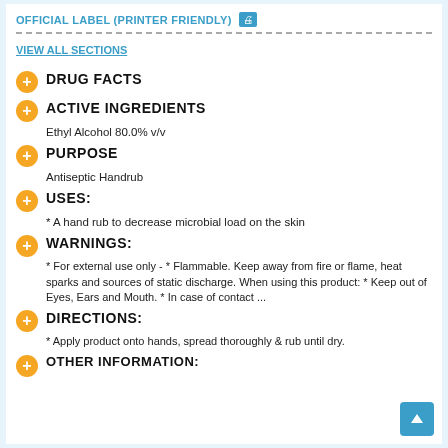OFFICIAL LABEL (PRINTER FRIENDLY)
VIEW ALL SECTIONS
DRUG FACTS
ACTIVE INGREDIENTS
Ethyl Alcohol 80.0% v/v
PURPOSE
Antiseptic Handrub
USES:
* A hand rub to decrease microbial load on the skin
WARNINGS:
* For external use only - * Flammable. Keep away from fire or flame, heat sparks and sources of static discharge. When using this product: * Keep out of Eyes, Ears and Mouth. * In case of contact ...
DIRECTIONS:
* Apply product onto hands, spread thoroughly & rub until dry.
OTHER INFORMATION: